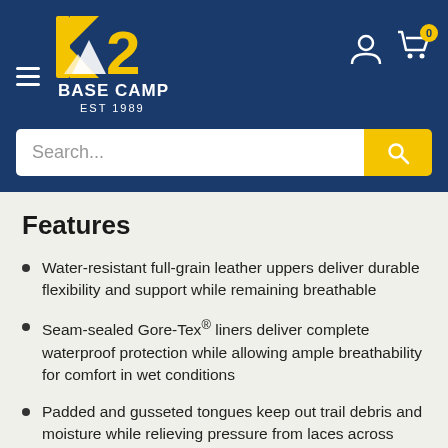[Figure (logo): K2 Base Camp EST 1989 logo — yellow K2 mountain graphic with white text BASE CAMP and EST 1989 on dark blue background]
Features
Water-resistant full-grain leather uppers deliver durable flexibility and support while remaining breathable
Seam-sealed Gore-Tex® liners deliver complete waterproof protection while allowing ample breathability for comfort in wet conditions
Padded and gusseted tongues keep out trail debris and moisture while relieving pressure from laces across instep